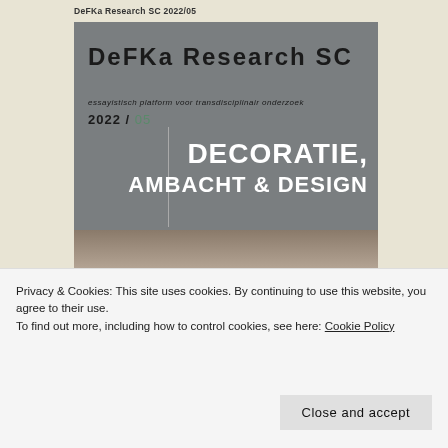DeFKa Research SC 2022/05
[Figure (illustration): Book cover for DeFKa Research SC 2022/05 featuring the title 'DeFKa Research SC' in large dark letters on grey background, subtitle 'essayistisch platform voor transdisciplinair onderzoek', year '2022 / 05', a vertical line, and large white bold text reading 'DECORATIE, AMBACHT & DESIGN'. Below the grey area is a photo of wooden bowls.]
Privacy & Cookies: This site uses cookies. By continuing to use this website, you agree to their use.
To find out more, including how to control cookies, see here: Cookie Policy
Close and accept